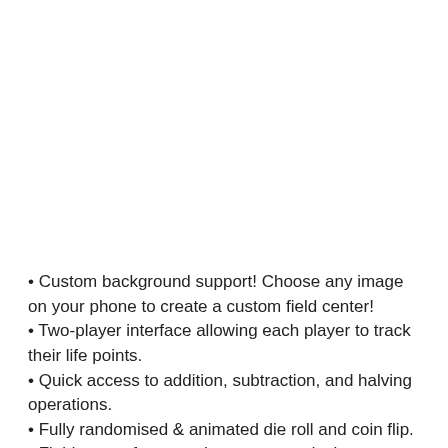• Custom background support! Choose any image on your phone to create a custom field center!
• Two-player interface allowing each player to track their life points.
• Quick access to addition, subtraction, and halving operations.
• Fully randomised & animated die roll and coin flip.
• Field center frame option: use your device to signify the middle of the field for easy play on any surface!
• Toggle screen auto-lock to keep your device unlocked for the